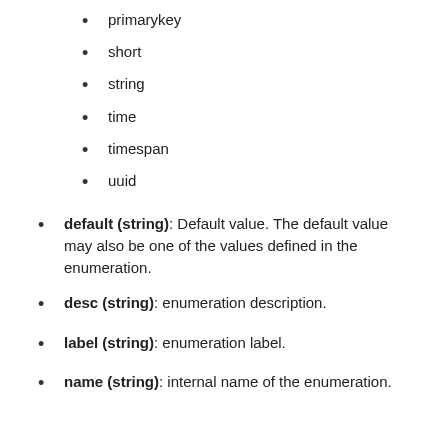primarykey
short
string
time
timespan
uuid
default (string): Default value. The default value may also be one of the values defined in the enumeration.
desc (string): enumeration description.
label (string): enumeration label.
name (string): internal name of the enumeration.